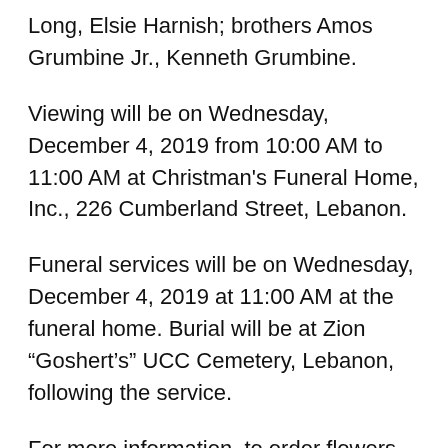Long, Elsie Harnish; brothers Amos Grumbine Jr., Kenneth Grumbine.
Viewing will be on Wednesday, December 4, 2019 from 10:00 AM to 11:00 AM at Christman's Funeral Home, Inc., 226 Cumberland Street, Lebanon.
Funeral services will be on Wednesday, December 4, 2019 at 11:00 AM at the funeral home. Burial will be at Zion “Goshert’s” UCC Cemetery, Lebanon, following the service.
For more information, to order flowers, or to send messages of condolence, please visit www.christmansfuneralhome.com